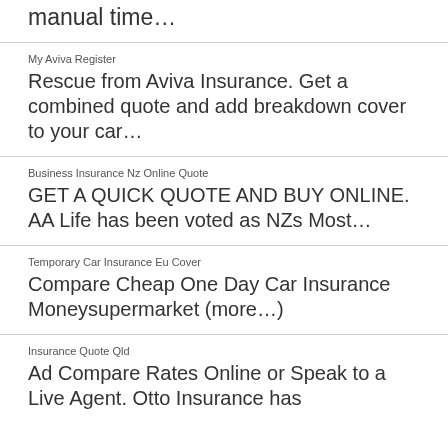manual time...
My Aviva Register
Rescue from Aviva Insurance. Get a combined quote and add breakdown cover to your car...
Business Insurance Nz Online Quote
GET A QUICK QUOTE AND BUY ONLINE. AA Life has been voted as NZs Most...
Temporary Car Insurance Eu Cover
Compare Cheap One Day Car Insurance Moneysupermarket (more...)
Insurance Quote Qld
Ad Compare Rates Online or Speak to a Live Agent. Otto Insurance has